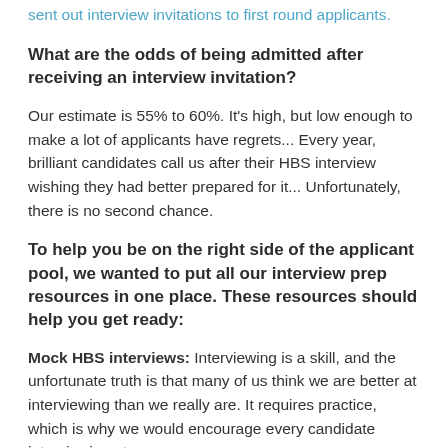sent out interview invitations to first round applicants.
What are the odds of being admitted after receiving an interview invitation?
Our estimate is 55% to 60%. It's high, but low enough to make a lot of applicants have regrets... Every year, brilliant candidates call us after their HBS interview wishing they had better prepared for it... Unfortunately, there is no second chance.
To help you be on the right side of the applicant pool, we wanted to put all our interview prep resources in one place. These resources should help you get ready:
Mock HBS interviews: Interviewing is a skill, and the unfortunate truth is that many of us think we are better at interviewing than we really are. It requires practice, which is why we would encourage every candidate interviewing at